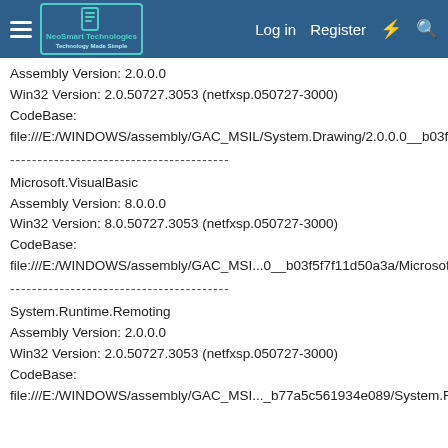NeoSmart Technologies | Log in | Register
Assembly Version: 2.0.0.0
Win32 Version: 2.0.50727.3053 (netfxsp.050727-3000)
CodeBase: file:///E:/WINDOWS/assembly/GAC_MSIL/System.Drawing/2.0.0.0__b03f5f7f11d50a3a/System.Drawing.dll
----------------------------------------
Microsoft.VisualBasic
Assembly Version: 8.0.0.0
Win32 Version: 8.0.50727.3053 (netfxsp.050727-3000)
CodeBase: file:///E:/WINDOWS/assembly/GAC_MSI...0__b03f5f7f11d50a3a/Microsoft.VisualBasic.dll
----------------------------------------
System.Runtime.Remoting
Assembly Version: 2.0.0.0
Win32 Version: 2.0.50727.3053 (netfxsp.050727-3000)
CodeBase: file:///E:/WINDOWS/assembly/GAC_MSI..._b77a5c561934e089/System.Runtime.Remoting.dll